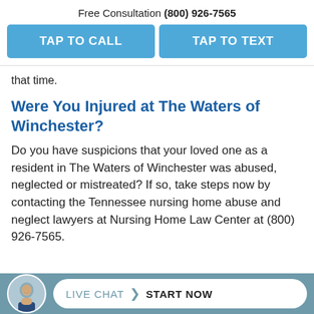Free Consultation (800) 926-7565
TAP TO CALL
TAP TO TEXT
that time.
Were You Injured at The Waters of Winchester?
Do you have suspicions that your loved one as a resident in The Waters of Winchester was abused, neglected or mistreated? If so, take steps now by contacting the Tennessee nursing home abuse and neglect lawyers at Nursing Home Law Center at (800) 926-7565.
LIVE CHAT > START NOW